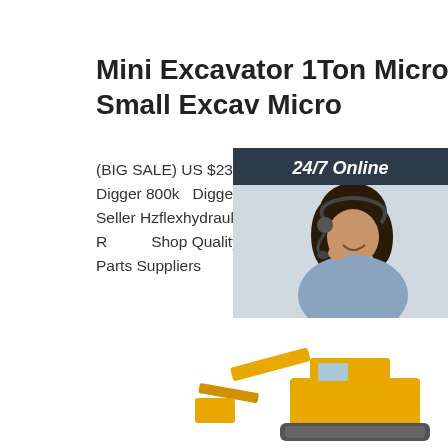Mini Excavator 1Ton Micro Bagger Small Excav Micro
(BIG SALE) US $23,598.00 Buy Mini Excavator 1Ton Micro Bagger Small Excav Micro Digger 800kg Digger For Sale Small Excavator Hydraulic Crawler Mini Excavator From Seller Hzflexhydraulic Store. Enjoy Free Shipping Worldwide! Limited Time Sale Easy Return. Shop Quality & Best Construction Tool Parts Directly From China Construction Tool Parts Suppliers.
[Figure (photo): Customer service representative woman with headset smiling, shown in a 24/7 online chat widget with dark blue background and orange QUOTATION button]
[Figure (photo): Partial view of a yellow mini excavator / construction equipment at the bottom of the page]